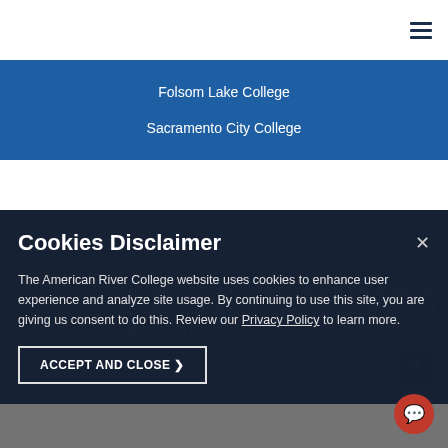Folsom Lake College
Sacramento City College
Accreditation
Cookies Disclaimer
The American River College website uses cookies to enhance user experience and analyze site usage. By continuing to use this site, you are giving us consent to do this. Review our Privacy Policy to learn more.
ACCEPT AND CLOSE
Hi there! I'm a chatbot here to answer your questions in English, Spanish and simplified Chinese. What would you like to know?